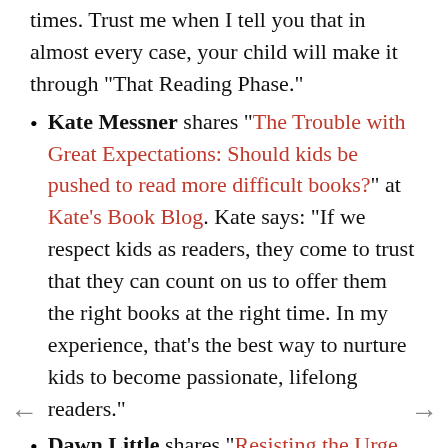times. Trust me when I tell you that in almost every case, your child will make it through "That Reading Phase."
Kate Messner shares "The Trouble with Great Expectations: Should kids be pushed to read more difficult books?" at Kate's Book Blog. Kate says: "If we respect kids as readers, they come to trust that they can count on us to offer them the right books at the right time. In my experience, that's the best way to nurture kids to become passionate, lifelong readers."
Dawn Little shares "Resisting the Urge to Create a Reading Superstar" at Literacy Toolbox. Dawn says: "These days, moms should really have the title of "Supermom".  Not only do we have to